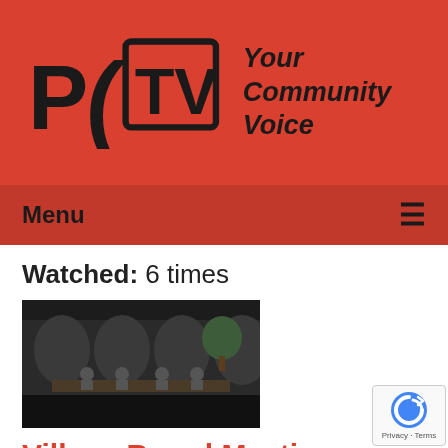[Figure (logo): PCTV logo with text 'Your Community Voice' on red background]
Menu ≡
Watched: 6 times
[Figure (screenshot): Thumbnail of village board meeting video showing people seated at a table]
Village Board Meeting of 12-13-2021
Airdate: 12/13/2021
Watched: 14 times